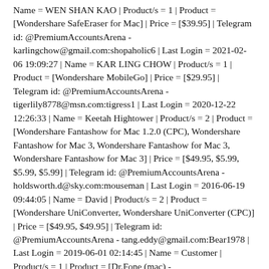Name = WEN SHAN KAO | Product/s = 1 | Product = [Wondershare SafeEraser for Mac] | Price = [$39.95] | Telegram id: @PremiumAccountsArena - karlingchow@gmail.com:shopaholic6 | Last Login = 2021-02-06 19:09:27 | Name = KAR LING CHOW | Product/s = 1 | Product = [Wondershare MobileGo] | Price = [$29.95] | Telegram id: @PremiumAccountsArena - tigerlily8778@msn.com:tigress1 | Last Login = 2020-12-22 12:26:33 | Name = Keetah Hightower | Product/s = 2 | Product = [Wondershare Fantashow for Mac 1.2.0 (CPC), Wondershare Fantashow for Mac 3, Wondershare Fantashow for Mac 3, Wondershare Fantashow for Mac 3] | Price = [$49.95, $5.99, $5.99, $5.99] | Telegram id: @PremiumAccountsArena - holdsworth.d@sky.com:mouseman | Last Login = 2016-06-19 09:44:05 | Name = David | Product/s = 2 | Product = [Wondershare UniConverter, Wondershare UniConverter (CPC)] | Price = [$49.95, $49.95] | Telegram id: @PremiumAccountsArena - tang.eddy@gmail.com:Bear1978 | Last Login = 2019-06-01 02:14:45 | Name = Customer | Product/s = 1 | Product = [Dr.Fone (mac) -